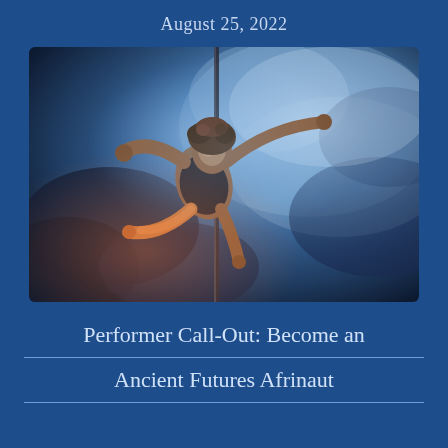August 25, 2022
[Figure (photo): An aerial performer in black athletic wear grips a vertical pole, body extended dynamically against a dramatic blue-toned background with cloud-like smoke or water effects.]
Performer Call-Out: Become an Ancient Futures Afrinaut